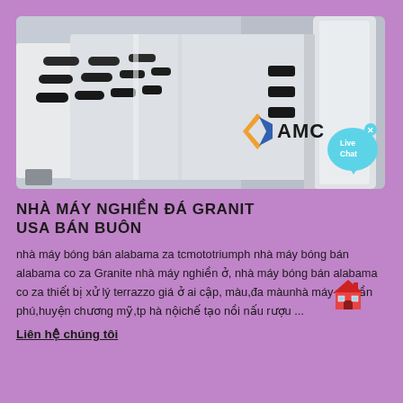[Figure (photo): Industrial granite crushing machine / equipment in white color, with AMC logo and Live Chat bubble overlay in the bottom-right corner]
NHÀ MÁY NGHIỀN ĐÁ GRANIT USA BÁN BUÔN
nhà máy bóng bán alabama za tcmototriumph nhà máy bóng bán alabama co za Granite nhà máy nghiền ở, nhà máy bóng bán alabama co za thiết bị xử lý terrazzo giá ở ai cập, màu,đa màunhà máy xã trần phú,huyện chương mỹ,tp hà nộichế tạo nồi nấu rượu ...
Liên hệ chúng tôi